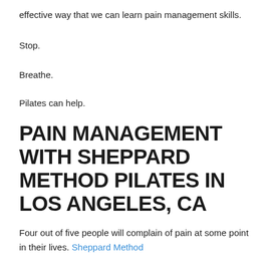effective way that we can learn pain management skills.
Stop.
Breathe.
Pilates can help.
PAIN MANAGEMENT WITH SHEPPARD METHOD PILATES IN LOS ANGELES, CA
Four out of five people will complain of pain at some point in their lives. Sheppard Method